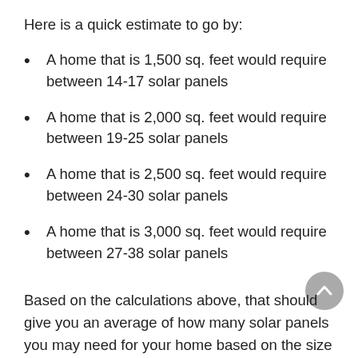Here is a quick estimate to go by:
A home that is 1,500 sq. feet would require between 14-17 solar panels
A home that is 2,000 sq. feet would require between 19-25 solar panels
A home that is 2,500 sq. feet would require between 24-30 solar panels
A home that is 3,000 sq. feet would require between 27-38 solar panels
Based on the calculations above, that should give you an average of how many solar panels you may need for your home based on the size